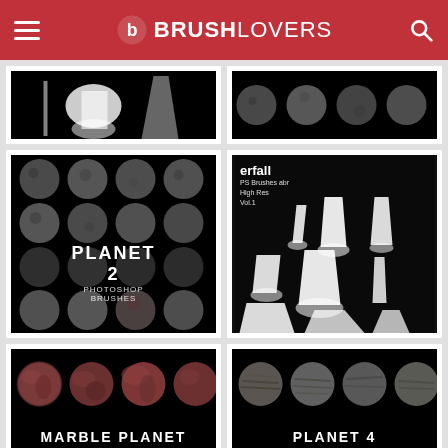BRUSHLOVERS
[Figure (screenshot): Waterfall brushes preview thumbnail (cropped, partial view) - white waterfall brush strokes on black background]
[Figure (screenshot): Planet brushes preview thumbnail (cropped, partial view) - grey/textured circular planet shapes on black background]
[Figure (screenshot): Planet 2 Photoshop Brushes - grid of grey textured planet circles on black background with centered text label]
[Figure (screenshot): Waterfall Photoshop Brushes Vol.1 - high res waterfall brush strokes on black background with text label]
[Figure (screenshot): Marble Planet brushes preview - reddish-brown marble textured planet circles on black background (partial)]
[Figure (screenshot): Planet 4 brushes preview - grey/beige textured planet circles on black background (partial)]